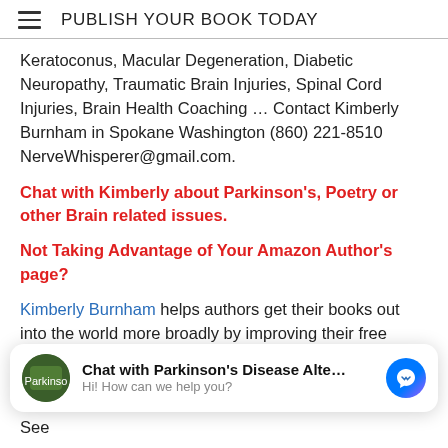PUBLISH YOUR BOOK TODAY
Keratoconus, Macular Degeneration, Diabetic Neuropathy, Traumatic Brain Injuries, Spinal Cord Injuries, Brain Health Coaching ... Contact Kimberly Burnham in Spokane Washington (860) 221-8510 NerveWhisperer@gmail.com.
Chat with Kimberly about Parkinson's, Poetry or other Brain related issues.
Not Taking Advantage of Your Amazon Author's page?
Kimberly Burnham helps authors get their books out into the world more broadly by improving their free Amazon Author's page and book pages, posting a
[Figure (screenshot): Chat widget: Chat with Parkinson's Disease Alte... Hi! How can we help you? with messenger icon]
at $50. Contact her at NerveWhisperer@gmail.com. See